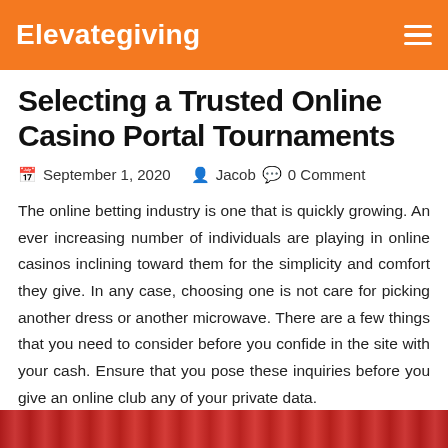Elevategiving
Selecting a Trusted Online Casino Portal Tournaments
September 1, 2020  Jacob  0 Comment
The online betting industry is one that is quickly growing. An ever increasing number of individuals are playing in online casinos inclining toward them for the simplicity and comfort they give. In any case, choosing one is not care for picking another dress or another microwave. There are a few things that you need to consider before you confide in the site with your cash. Ensure that you pose these inquiries before you give an online club any of your private data.
[Figure (photo): Bottom portion of an image, partially visible, appearing to show a red/dark colored scene, likely related to casino or gaming imagery.]